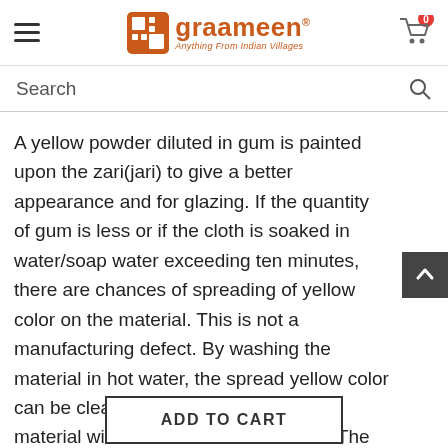graameen — Anything From Indian Villages
Search
A yellow powder diluted in gum is painted upon the zari(jari) to give a better appearance and for glazing. If the quantity of gum is less or if the cloth is soaked in water/soap water exceeding ten minutes, there are chances of spreading of yellow color on the material. This is not a manufacturing defect. By washing the material in hot water, the spread yellow color can be cleared and the zari(jari) on the material will become the natural color. The zari(jari) can be repolished if required. Hand wash with ordinary soap (avoid detergent) and
ADD TO CART